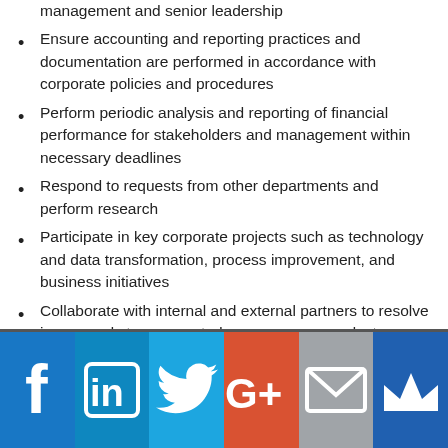management and senior leadership
Ensure accounting and reporting practices and documentation are performed in accordance with corporate policies and procedures
Perform periodic analysis and reporting of financial performance for stakeholders and management within necessary deadlines
Respond to requests from other departments and perform research
Participate in key corporate projects such as technology and data transformation, process improvement, and business initiatives
Collaborate with internal and external partners to resolve issues and stay connected on process or product changes
Provide ad hoc analysis to management
Provide support for audit, risk and compliance groups when necessary
[Figure (infographic): Social media sharing icons footer bar: Facebook (blue), LinkedIn (light blue), Twitter (blue), Google+ (red), Email (gray), Crown/bookmark (dark blue)]